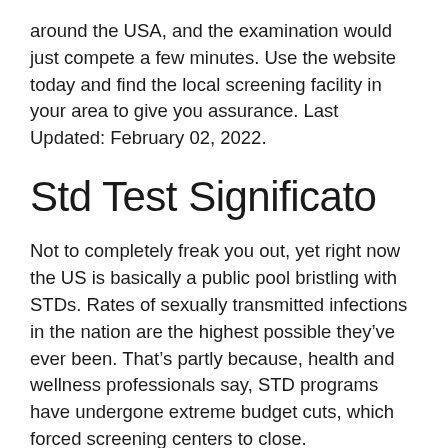around the USA, and the examination would just compete a few minutes. Use the website today and find the local screening facility in your area to give you assurance. Last Updated: February 02, 2022.
Std Test Significato
Not to completely freak you out, yet right now the US is basically a public pool bristling with STDs. Rates of sexually transmitted infections in the nation are the highest possible they've ever been. That's partly because, health and wellness professionals say, STD programs have undergone extreme budget cuts, which forced screening centers to close.